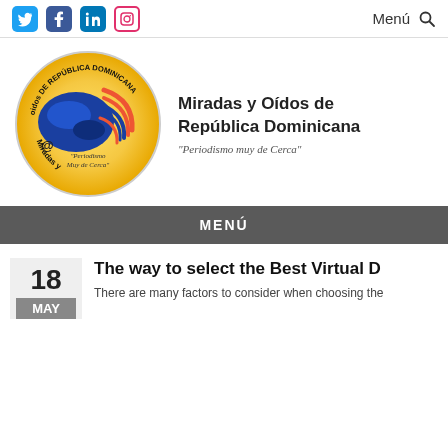Social icons: Twitter, Facebook, LinkedIn, Instagram | Menú
[Figure (logo): Circular logo for Miradas y Oídos de República Dominicana showing a globe with text around the border and 'Periodismo Muy de Cerca' in the center]
Miradas y Oídos de República Dominicana
"Periodismo muy de Cerca"
MENÚ
The way to select the Best Virtual D
There are many factors to consider when choosing the...